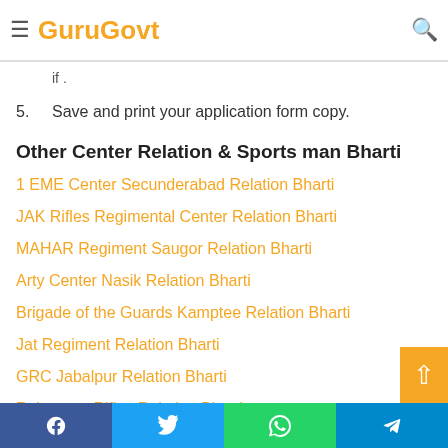GuruGovt
Read all detail carefully.
details such as Name, Address, Age Limit, Educational Qualification, and Signature & Photos, check if .
5. Save and print your application form copy.
Other Center Relation & Sports man Bharti
1 EME Center Secunderabad Relation Bharti
JAK Rifles Regimental Center Relation Bharti
MAHAR Regiment Saugor Relation Bharti
Arty Center Nasik Relation Bharti
Brigade of the Guards Kamptee Relation Bharti
Jat Regiment Relation Bharti
GRC Jabalpur Relation Bharti
Rajputana Rifles Relation Bharti
Facebook | Twitter | WhatsApp | Telegram